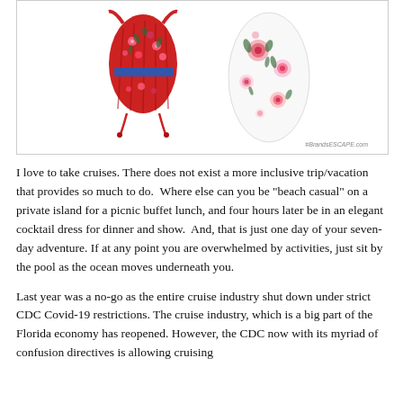[Figure (photo): Two floral dresses displayed side by side on a white background. Left: a red floral ruched dress with tie details. Right: a white floral skirt/dress with pink roses. Watermark reads '#BrandsESCAPE.com' in bottom right corner.]
I love to take cruises. There does not exist a more inclusive trip/vacation that provides so much to do.  Where else can you be "beach casual" on a private island for a picnic buffet lunch, and four hours later be in an elegant cocktail dress for dinner and show.  And, that is just one day of your seven-day adventure. If at any point you are overwhelmed by activities, just sit by the pool as the ocean moves underneath you.
Last year was a no-go as the entire cruise industry shut down under strict CDC Covid-19 restrictions. The cruise industry, which is a big part of the Florida economy has reopened. However, the CDC now with its myriad of confusion directives is allowing cruising